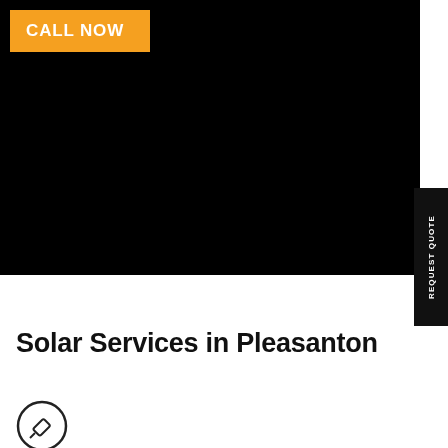[Figure (photo): Large dark/black hero image area showing a background scene, occupying the upper portion of the page]
CALL NOW
REQUEST QUOTE
Solar Services in Pleasanton
[Figure (illustration): Circular icon with a pencil/edit symbol inside]